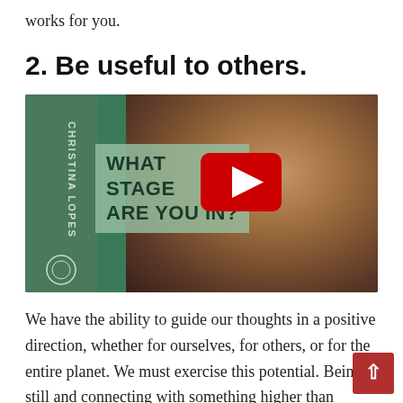works for you.
2. Be useful to others.
[Figure (photo): YouTube video thumbnail showing a red-haired woman with freckles, with text overlay 'WHAT STAGE ARE YOU IN?' and a YouTube play button. Left green sidebar reads 'CHRISTINA LOPES' vertically.]
We have the ability to guide our thoughts in a positive direction, whether for ourselves, for others, or for the entire planet. We must exercise this potential. Being still and connecting with something higher than